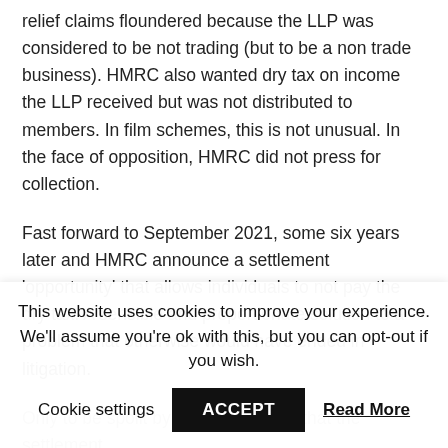relief claims floundered because the LLP was considered to be not trading (but to be a non trade business). HMRC also wanted dry tax on income the LLP received but was not distributed to members. In film schemes, this is not unusual. In the face of opposition, HMRC did not press for collection.
Fast forward to September 2021, some six years later and HMRC announce a settlement 'opportunity' that allows individuals to not pay the dry tax. A sensible and proportionate solution to a problem that otherwise would have ended in litigation.
Only to be spoilt by HMRC claiming that the settlement
This website uses cookies to improve your experience. We'll assume you're ok with this, but you can opt-out if you wish.